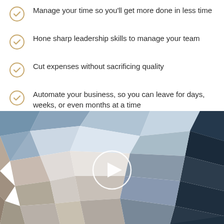Manage your time so you'll get more done in less time
Hone sharp leadership skills to manage your team
Cut expenses without sacrificing quality
Automate your business, so you can leave for days, weeks, or even months at a time
[Figure (illustration): Low-poly geometric abstract background image in blue, grey, and dark tones with a white circular play button overlay in the center]